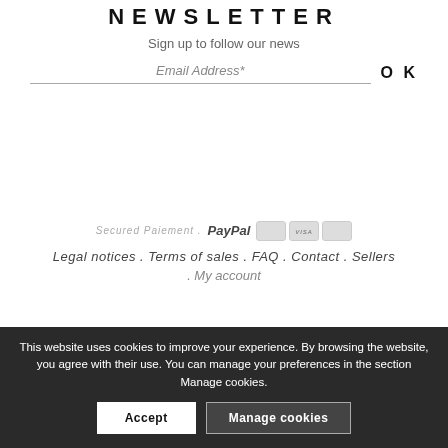NEWSLETTER
Sign up to follow our news
Email Address*  OK
Secured Paiement . PayPal [card icons]
Legal notices . Terms of sales . FAQ . Contact . Sellers . My account
This website uses cookies to improve your experience. By browsing the website, you agree with their use. You can manage your preferences in the section Manage cookies.
Accept  Manage cookies